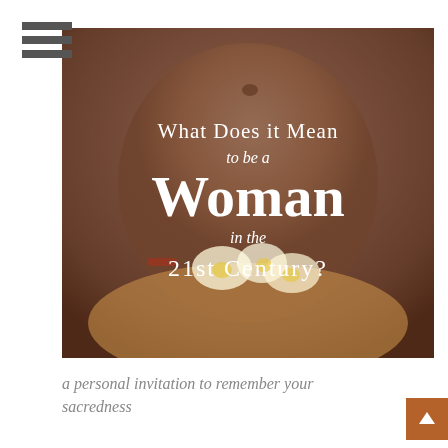[Figure (photo): A pregnant woman's belly with hands holding white plumeria flowers, with overlaid text asking 'What Does it Mean to be a Woman in the 21st Century?']
a personal invitation to remember your sacredness